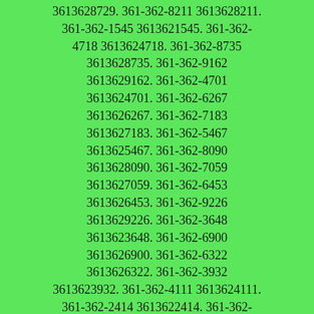3613628729. 361-362-8211 3613628211. 361-362-1545 3613621545. 361-362-4718 3613624718. 361-362-8735 3613628735. 361-362-9162 3613629162. 361-362-4701 3613624701. 361-362-6267 3613626267. 361-362-7183 3613627183. 361-362-5467 3613625467. 361-362-8090 3613628090. 361-362-7059 3613627059. 361-362-6453 3613626453. 361-362-9226 3613629226. 361-362-3648 3613623648. 361-362-6900 3613626900. 361-362-6322 3613626322. 361-362-3932 3613623932. 361-362-4111 3613624111. 361-362-2414 3613622414. 361-362-9613 3613629613. 361-362-9402 3613629402. 361-362-6410 3613626410. 361-362-4236 3613624236. 361-362-7683 3613627683. 361-362-2630 3613622630. 361-362-8386 3613628386. 361-362-0135 Caller Name